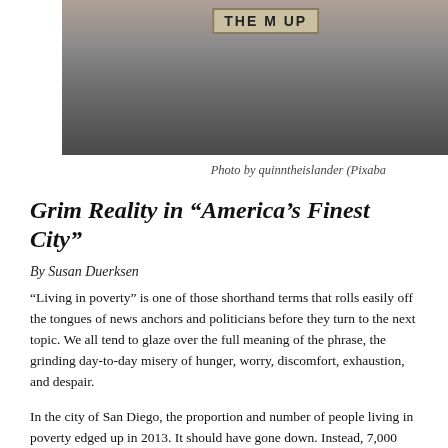[Figure (photo): Street protest scene with cardboard sign reading 'THEM UP' on pavement, with a red cup nearby]
Photo by quinntheislander (Pixaba
Grim Reality in “America’s Finest City”
By Susan Duerksen
“Living in poverty” is one of those shorthand terms that rolls easily off the tongues of news anchors and politicians before they turn to the next topic. We all tend to glaze over the full meaning of the phrase, the grinding day-to-day misery of hunger, worry, discomfort, exhaustion, and despair.
In the city of San Diego, the proportion and number of people living in poverty edged up in 2013. It should have gone down. Instead, 7,000 more people in the city live in poverty now, in addition to the 202,000 who remain in that dire situation from the previous year.